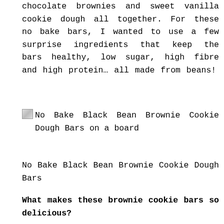chocolate brownies and sweet vanilla cookie dough all together. For these no bake bars, I wanted to use a few surprise ingredients that keep the bars healthy, low sugar, high fibre and high protein… all made from beans!
[Figure (photo): No Bake Black Bean Brownie Cookie Dough Bars on a board — broken image placeholder with alt text]
No Bake Black Bean Brownie Cookie Dough Bars
What makes these brownie cookie bars so delicious?